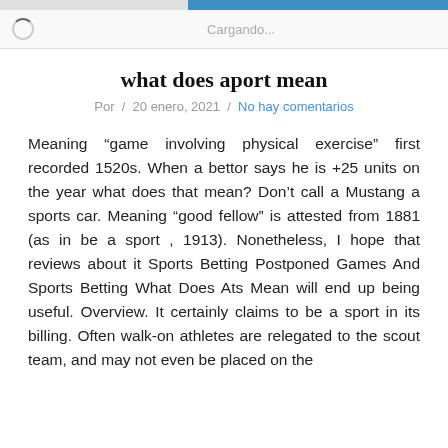Cargando...
what does aport mean
Por  /  20 enero, 2021  /  No hay comentarios
Meaning "game involving physical exercise" first recorded 1520s. When a bettor says he is +25 units on the year what does that mean? Don't call a Mustang a sports car. Meaning "good fellow" is attested from 1881 (as in be a sport , 1913). Nonetheless, I hope that reviews about it Sports Betting Postponed Games And Sports Betting What Does Ats Mean will end up being useful. Overview. It certainly claims to be a sport in its billing. Often walk-on athletes are relegated to the scout team, and may not even be placed on the